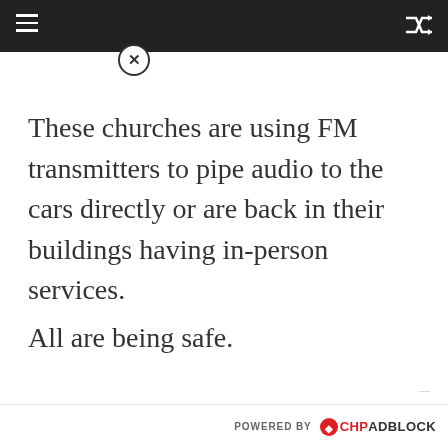These churches are using FM transmitters to pipe audio to the cars directly or are back in their buildings having in-person services.
All are being safe.
POWERED BY CHPADBLOCK